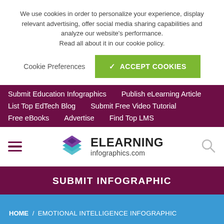We use cookies in order to personalize your experience, display relevant advertising, offer social media sharing capabilities and analyze our website's performance.
Read all about it in our cookie policy.
Cookie Preferences
✓ ACCEPT COOKIES
Submit Education Infographics
Publish eLearning Article
List Top EdTech Blog
Submit Free Video Tutorial
Free eBooks
Advertise
Find Top LMS
[Figure (logo): ELearning Infographics logo with stacked colored layers diamond shape and text ELEARNING infographics.com]
SUBMIT INFOGRAPHIC
HOME / EMOTIONAL INTELLIGENCE INFOGRAPHIC